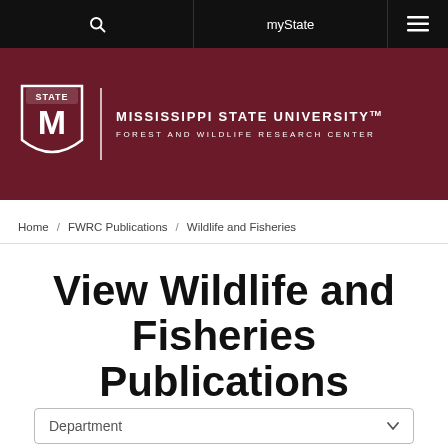myState
[Figure (logo): Mississippi State University Forest and Wildlife Research Center logo with MSU shield on dark maroon background]
Home / FWRC Publications / Wildlife and Fisheries
View Wildlife and Fisheries Publications
Department